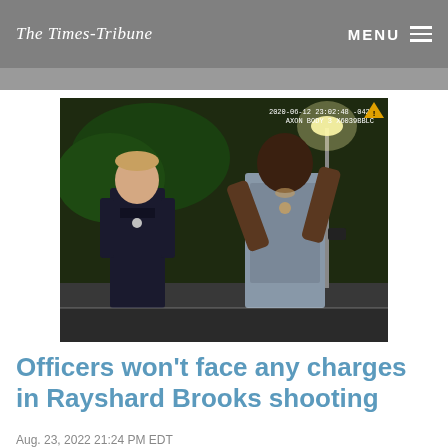The Times-Tribune | MENU
[Figure (photo): Body camera footage showing a police officer on the left (in dark uniform) and Rayshard Brooks on the right (in grey shirt with hands raised) in a parking lot at night. Timestamp reads 2020-06-12 23:02:48 -0420, AXON BODY 3 X6039BBLC with a yellow warning triangle icon.]
Officers won't face any charges in Rayshard Brooks shooting
Aug. 23, 2022 21:24 PM EDT